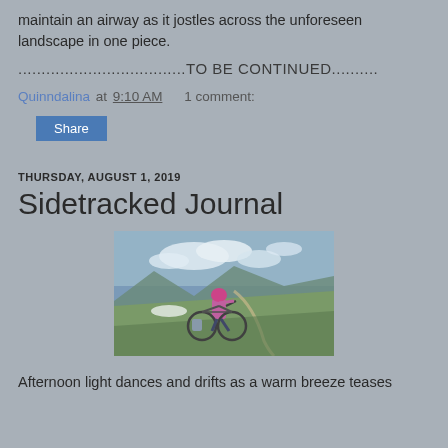maintain an airway as it jostles across the unforeseen landscape in one piece.
....................................TO BE CONTINUED..........
Quinndalina at 9:10 AM   1 comment:
Share
THURSDAY, AUGUST 1, 2019
Sidetracked Journal
[Figure (photo): A woman in a pink jacket and helmet carrying a mountain bike on a dirt trail on a green hillside with clouds and mountains in the background.]
Afternoon light dances and drifts as a warm breeze teases